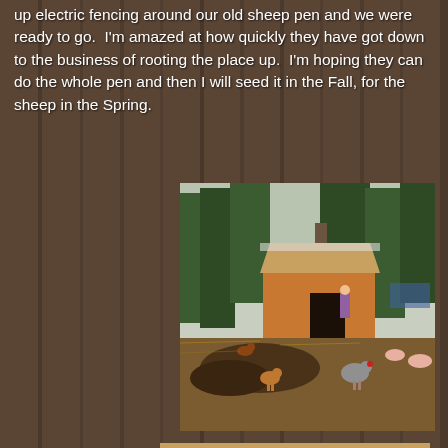up electric fencing around our old sheep pen and we were ready to go. I'm amazed at how quickly they have got down to the business of rooting the place up. I'm hoping they can do the whole pen and then I will seed it in the Fall, for the sheep in the Spring.
[Figure (photo): Farm scene showing a wooden barn/shed with a person standing near it, several chickens and pigs in a muddy field with trees in the background]
[Figure (photo): Close-up of two pink pigs standing on straw/hay bedding]